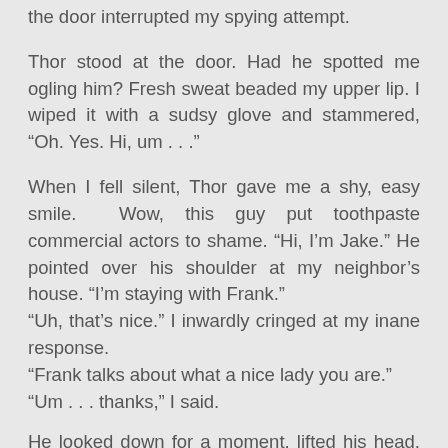the door interrupted my spying attempt.
Thor stood at the door. Had he spotted me ogling him? Fresh sweat beaded my upper lip. I wiped it with a sudsy glove and stammered, “Oh. Yes. Hi, um . . .”
When I fell silent, Thor gave me a shy, easy smile. Wow, this guy put toothpaste commercial actors to shame. “Hi, I’m Jake.” He pointed over his shoulder at my neighbor’s house. “I’m staying with Frank.” “Uh, that’s nice.” I inwardly cringed at my inane response. “Frank talks about what a nice lady you are.” “Um . . . thanks,” I said.
He looked down for a moment, lifted his head, and blurted, “Would you, maybe go out with me...